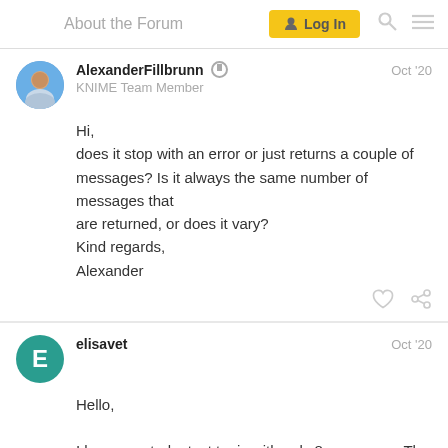About the Forum  Log In
AlexanderFillbrunn  KNIME Team Member  Oct '20
Hi,
does it stop with an error or just returns a couple of messages? Is it always the same number of messages that are returned, or does it vary?
Kind regards,
Alexander
elisavet  Oct '20
Hello,
I have created a test topic with only 8 messages. The connector stops when it consumes all messages. It doesn't